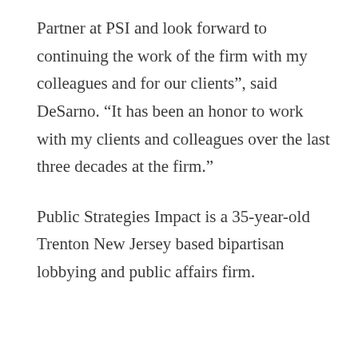Partner at PSI and look forward to continuing the work of the firm with my colleagues and for our clients”, said DeSarno. “It has been an honor to work with my clients and colleagues over the last three decades at the firm.”
Public Strategies Impact is a 35-year-old Trenton New Jersey based bipartisan lobbying and public affairs firm.